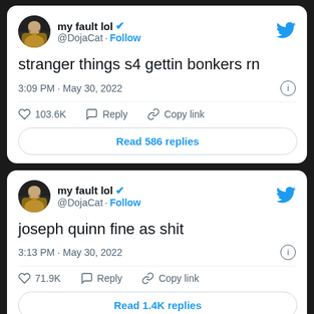[Figure (screenshot): Tweet card from @DojaCat (display name: my fault lol) with blue verified checkmark. Tweet text: 'stranger things s4 gettin bonkers rn'. Posted at 3:09 PM · May 30, 2022. Likes: 103.6K. Actions: Reply, Copy link. Button: Read 586 replies.]
[Figure (screenshot): Tweet card from @DojaCat (display name: my fault lol) with blue verified checkmark. Tweet text: 'joseph quinn fine as shit'. Posted at 3:13 PM · May 30, 2022. Likes: 71.9K. Actions: Reply, Copy link. Button: Read 1.4K replies.]